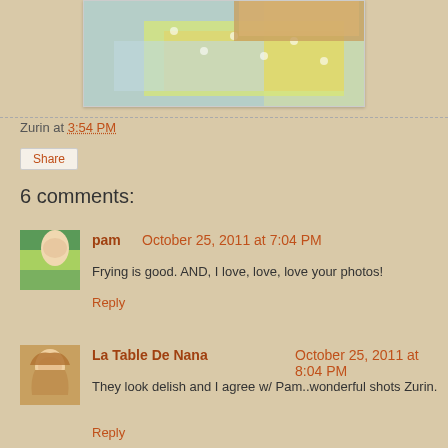[Figure (photo): Partial photo of fabric/sewing materials with polka dot fabric and wooden items, shown in a white-bordered frame]
Zurin at 3:54 PM
Share
6 comments:
pam October 25, 2011 at 7:04 PM
Frying is good. AND, I love, love, love your photos!
Reply
La Table De Nana October 25, 2011 at 8:04 PM
They look delish and I agree w/ Pam..wonderful shots Zurin.
Reply